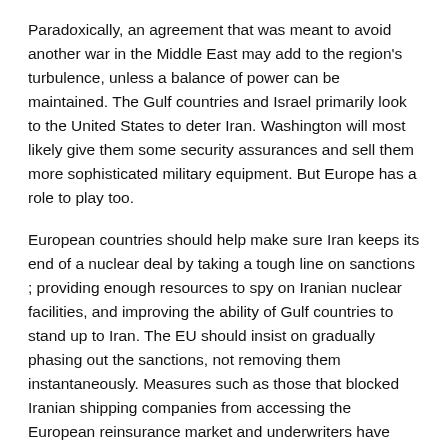Paradoxically, an agreement that was meant to avoid another war in the Middle East may add to the region's turbulence, unless a balance of power can be maintained. The Gulf countries and Israel primarily look to the United States to deter Iran. Washington will most likely give them some security assurances and sell them more sophisticated military equipment. But Europe has a role to play too.
European countries should help make sure Iran keeps its end of a nuclear deal by taking a tough line on sanctions ; providing enough resources to spy on Iranian nuclear facilities, and improving the ability of Gulf countries to stand up to Iran. The EU should insist on gradually phasing out the sanctions, not removing them instantaneously. Measures such as those that blocked Iranian shipping companies from accessing the European reinsurance market and underwriters have been central to the sanctions' overall success. The EU should only remove these measures if Iran meets clear commitments ; for instance on reducing its uranium stockpile or disabling its enrichment cycle. Importantly, if needed, the EU should be willing to reactivate the sanctions unilaterally (or with the US), even without a UN resolution.